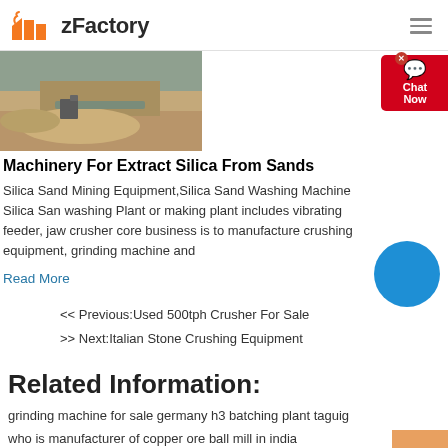zFactory
[Figure (photo): Aerial or ground-level photo of a mining or construction site with sandy/earthy terrain and equipment]
Machinery For Extract Silica From Sands
Silica Sand Mining Equipment,Silica Sand Washing Machine Silica Sand washing Plant or making plant includes vibrating feeder, jaw crusher core business is to manufacture crushing equipment, grinding machine and
Read More
<< Previous:Used 500tph Crusher For Sale
>> Next:Italian Stone Crushing Equipment
Related Information:
grinding machine for sale germany h3 batching plant taguig
who is manufacturer of copper ore ball mill in india
ore iron ore construction flotation cell